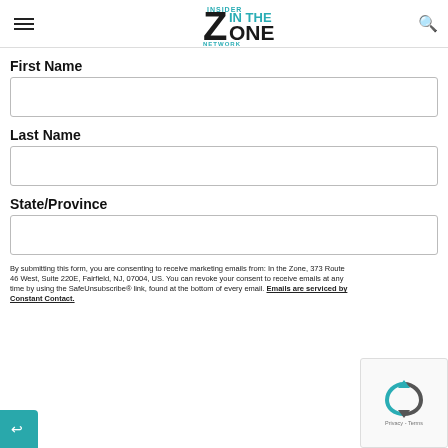In the Zone — navigation header with hamburger menu, logo, and search icon
First Name
Last Name
State/Province
By submitting this form, you are consenting to receive marketing emails from: In the Zone, 373 Route 46 West, Suite 220E, Fairfield, NJ, 07004, US. You can revoke your consent to receive emails at any time by using the SafeUnsubscribe® link, found at the bottom of every email. Emails are serviced by Constant Contact.